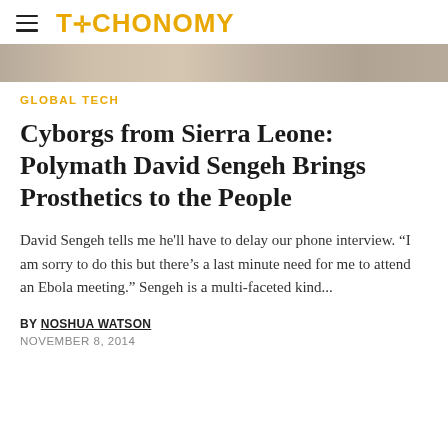TECHONOMY
[Figure (photo): Partial hero image at top of article showing people, cropped]
GLOBAL TECH
Cyborgs from Sierra Leone: Polymath David Sengeh Brings Prosthetics to the People
David Sengeh tells me he'll have to delay our phone interview. “I am sorry to do this but there’s a last minute need for me to attend an Ebola meeting.” Sengeh is a multi-faceted kind...
BY NOSHUA WATSON
NOVEMBER 8, 2014